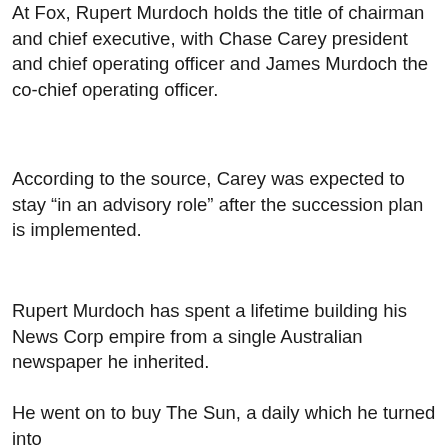At Fox, Rupert Murdoch holds the title of chairman and chief executive, with Chase Carey president and chief operating officer and James Murdoch the co-chief operating officer.
According to the source, Carey was expected to stay “in an advisory role” after the succession plan is implemented.
Rupert Murdoch has spent a lifetime building his News Corp empire from a single Australian newspaper he inherited.
He moved to London where his purchase of the weekly News of the World in 1969 gave him a high-profile foothold in the British market.
He went on to buy The Sun, a daily which he turned into